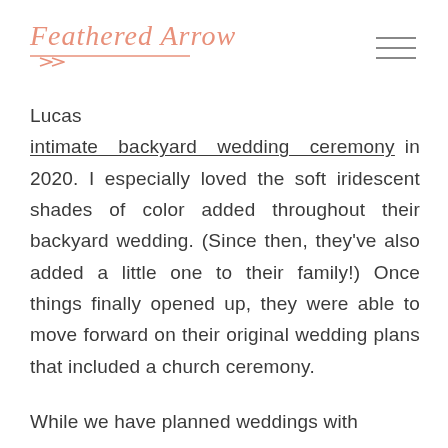Feathered Arrow
Lucas intimate backyard wedding ceremony in 2020. I especially loved the soft iridescent shades of color added throughout their backyard wedding. (Since then, they've also added a little one to their family!) Once things finally opened up, they were able to move forward on their original wedding plans that included a church ceremony.
While we have planned weddings with